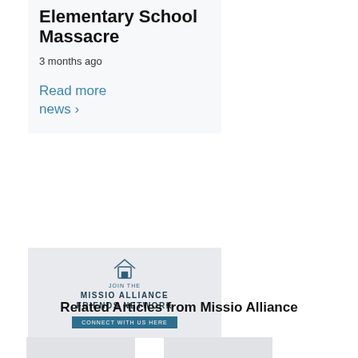Elementary School Massacre
3 months ago
Read more news >
[Figure (logo): Missio Alliance Friends Network advertisement banner with logo and join button]
Related Articles from Missio Alliance
[Figure (photo): Thumbnail image placeholder left]
[Figure (photo): Thumbnail image placeholder right]